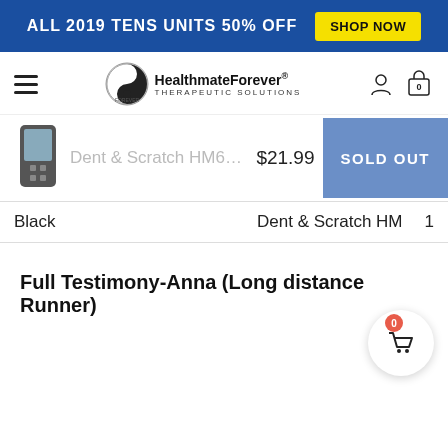ALL 2019 TENS UNITS 50% OFF  SHOP NOW
[Figure (logo): HealthmateForever Therapeutic Solutions logo with hamburger menu, user icon, and cart icon (0)]
[Figure (photo): Product image of a small black TENS unit device]
Dent & Scratch HM6...  $21.99  SOLD OUT
Black   Dent & Scratch HM   1
[Figure (illustration): Floating cart button with red badge showing 0]
Full Testimony-Anna (Long distance Runner)